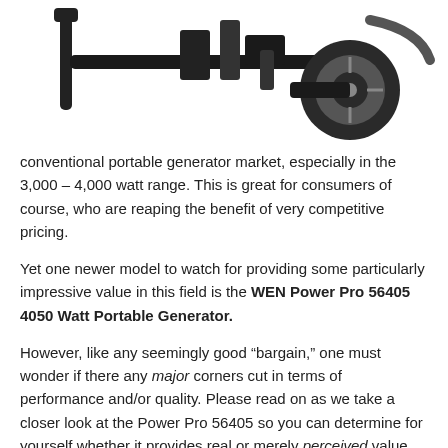[Figure (photo): Partial photo of a portable generator (black frame, wheel visible) cropped at top of page]
conventional portable generator market, especially in the 3,000 – 4,000 watt range. This is great for consumers of course, who are reaping the benefit of very competitive pricing.
Yet one newer model to watch for providing some particularly impressive value in this field is the WEN Power Pro 56405 4050 Watt Portable Generator.
However, like any seemingly good “bargain,” one must wonder if there any major corners cut in terms of performance and/or quality. Please read on as we take a closer look at the Power Pro 56405 so you can determine for yourself whether it provides real or merely perceived value.
Engine Displacement & Power Output
The 212cc, 7 horsepower air-cooled engine in the 56405 generates a total of 4050 surge (staring/max) watts and 3250 running (rated/continuous) watts. This makes the Power Pro a solid choice for emergency backup or off the grid recreational/work site power.